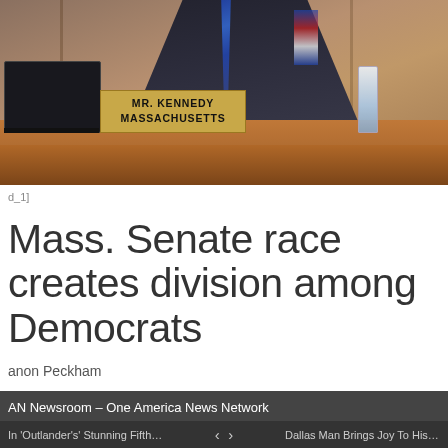[Figure (photo): A man in a dark suit sits behind a wooden desk/podium in what appears to be a congressional hearing room. A nameplate reading 'MR. KENNEDY MASSACHUSETTS' is visible on the wooden desk. A laptop is on the left, a water bottle on the right. Wood-paneled walls in background.]
[d_1]
Mass. Senate race creates division among Democrats
anon Peckham
AN Newsroom – One America News Network
In 'Outlander's' Stunning Fifth Se...   <   >   Dallas Man Brings Joy To His Loc...